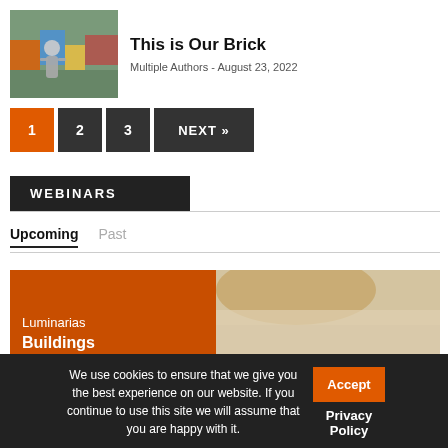[Figure (photo): Person painting or working on a colorful mural/graffiti wall]
This is Our Brick
Multiple Authors - August 23, 2022
1 2 3 NEXT »
WEBINARS
Upcoming   Past
[Figure (photo): Webinar card with orange background showing Luminarias / Buildings text and a close-up photo of a person's face]
We use cookies to ensure that we give you the best experience on our website. If you continue to use this site we will assume that you are happy with it.
Accept
Privacy Policy